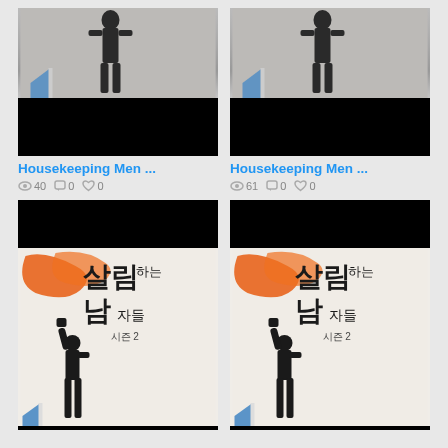[Figure (screenshot): Top-left card: TV show thumbnail showing a man silhouette with black bar overlay, Korean show 'Housekeeping Men' (살림하는 남자들 시즌2)]
Housekeeping Men ...
40  0  0
[Figure (screenshot): Top-right card: Same TV show thumbnail, duplicate]
Housekeeping Men ...
61  0  0
[Figure (screenshot): Bottom-left card: TV show poster for 살림하는 남자들 시즌2 (Housekeeping Men Season 2) with orange brush stroke and man silhouette]
[Figure (screenshot): Bottom-right card: Same TV show poster, duplicate]